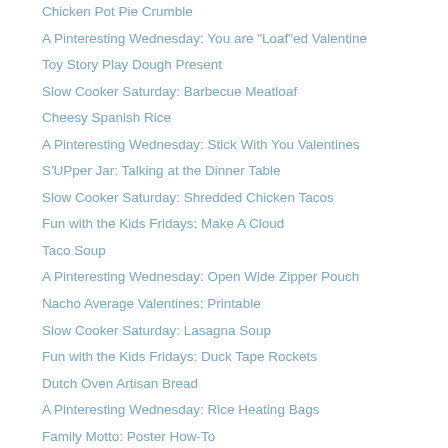Chicken Pot Pie Crumble
A Pinteresting Wednesday: You are "Loaf"ed Valentine
Toy Story Play Dough Present
Slow Cooker Saturday: Barbecue Meatloaf
Cheesy Spanish Rice
A Pinteresting Wednesday: Stick With You Valentines
S'UPper Jar: Talking at the Dinner Table
Slow Cooker Saturday: Shredded Chicken Tacos
Fun with the Kids Fridays: Make A Cloud
Taco Soup
A Pinteresting Wednesday: Open Wide Zipper Pouch
Nacho Average Valentines: Printable
Slow Cooker Saturday: Lasagna Soup
Fun with the Kids Fridays: Duck Tape Rockets
Dutch Oven Artisan Bread
A Pinteresting Wednesday: Rice Heating Bags
Family Motto: Poster How-To
Slow Cooker Saturday: Teriyaki Chicken